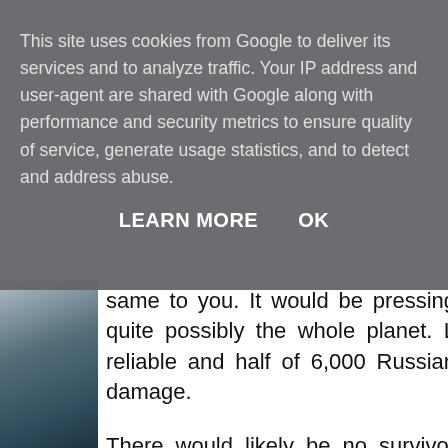This site uses cookies from Google to deliver its services and to analyze traffic. Your IP address and user-agent are shared with Google along with performance and security metrics to ensure quality of service, generate usage statistics, and to detect and address abuse.
LEARN MORE   OK
same to you. It would be pressing quite possibly the whole planet. L reliable and half of 6,000 Russian damage.
There would likely be no survivor among the first dead because inst